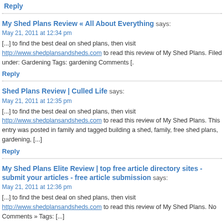Reply
My Shed Plans Review « All About Everything says:
May 21, 2011 at 12:34 pm
[...] to find the best deal on shed plans, then visit http://www.shedplansandsheds.com to read this review of My Shed Plans. Filed under: Gardening Tags: gardening Comments [.
Reply
Shed Plans Review | Culled Life says:
May 21, 2011 at 12:35 pm
[...] to find the best deal on shed plans, then visit http://www.shedplansandsheds.com to read this review of My Shed Plans. This entry was posted in family and tagged building a shed, family, free shed plans, gardening, [...]
Reply
My Shed Plans Elite Review | top free article directory sites - submit your articles - free article submission says:
May 21, 2011 at 12:36 pm
[...] to find the best deal on shed plans, then visit http://www.shedplansandsheds.com to read this review of My Shed Plans. No Comments » Tags: [...]
Reply
My Shed Plans Elite Review | Top Article Directory says:
May 21, 2011 at 12:37 pm
[...] then you will need a good set of shed plans, visit http://www.shedplansandsheds.com